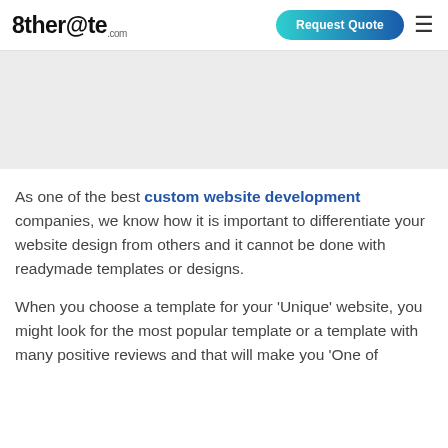8ther@te.com | Request Quote
As one of the best custom website development companies, we know how it is important to differentiate your website design from others and it cannot be done with readymade templates or designs.
When you choose a template for your 'Unique' website, you might look for the most popular template or a template with many positive reviews and that will make you 'One of